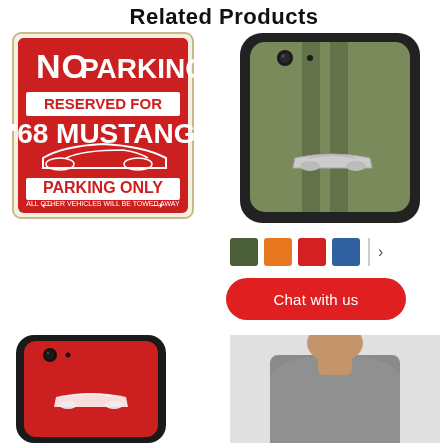Related Products
[Figure (photo): Red and white 'No Parking Reserved for '68 Mustang Parking Only' novelty metal sign with a Mustang convertible illustration]
[Figure (photo): Olive/green iPhone XR case with racing stripes and a silver 1968 Ford Mustang convertible emblem]
[Figure (other): Color swatches: dark green, orange, red, blue, with a divider and right arrow for more options]
[Figure (other): Red rounded rectangle Chat with us button]
[Figure (photo): Red iPhone case with a Mustang-related graphic, partially visible]
[Figure (photo): Person wearing a gray t-shirt, partially visible]